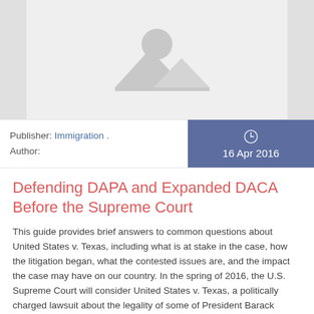[Figure (photo): Image placeholder with grey background and mountain/landscape icon]
Publisher: Immigration . Author:
16 Apr 2016
Defending DAPA and Expanded DACA Before the Supreme Court
This guide provides brief answers to common questions about United States v. Texas, including what is at stake in the case, how the litigation began, what the contested issues are, and the impact the case may have on our country. In the spring of 2016, the U.S. Supreme Court will consider United States v. Texas, a politically charged lawsuit about the legality of some of President Barack Obama's executive actions on immigration.
Tags:  executive action, obama